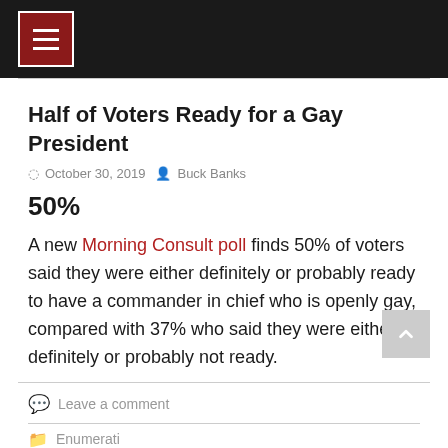Half of Voters Ready for a Gay President
October 30, 2019  Buck Banks
50%
A new Morning Consult poll finds 50% of voters said they were either definitely or probably ready to have a commander in chief who is openly gay, compared with 37% who said they were either definitely or probably not ready.
Leave a comment
Enumerati